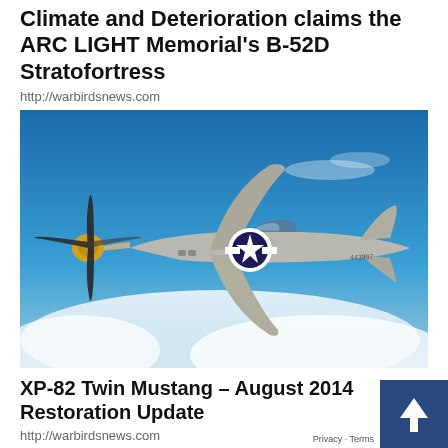Climate and Deterioration claims the ARC LIGHT Memorial's B-52D Stratofortress
http://warbirdsnews.com
[Figure (photo): A WWII-era propeller aircraft (XP-82 Twin Mustang style single engine fighter) in silver/unpainted metal finish flying against a blue sky with white clouds. The aircraft has a yellow propeller spinner, a large four-blade propeller, a single cockpit canopy, US military star insignia on the fuselage, and twin tail fins.]
XP-82 Twin Mustang – August 2014 Restoration Update
http://warbirdsnews.com